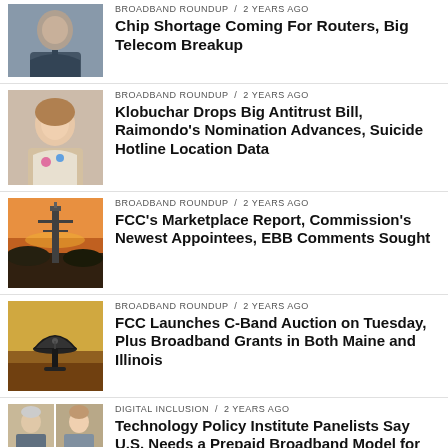Chip Shortage Coming For Routers, Big Telecom Breakup
Klobuchar Drops Big Antitrust Bill, Raimondo's Nomination Advances, Suicide Hotline Location Data
FCC's Marketplace Report, Commission's Newest Appointees, EBB Comments Sought
FCC Launches C-Band Auction on Tuesday, Plus Broadband Grants in Both Maine and Illinois
Technology Policy Institute Panelists Say U.S. Needs a Prepaid Broadband Model for Low-Income
BROADBAND'S IMPACT / 2 years ago